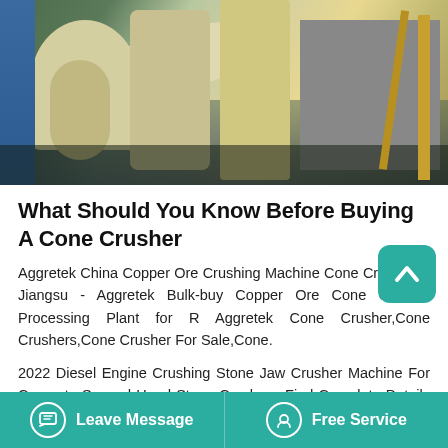[Figure (photo): Industrial cone crusher machinery in a factory setting with large cylindrical equipment, pipes, and yellow metal structures]
What Should You Know Before Buying A Cone Crusher
Aggretek China Copper Ore Crushing Machine Cone Crusher in Jiangsu - Aggretek Bulk-buy Copper Ore Cone Crusher Processing Plant for R Aggretek Cone Crusher,Cone Crushers,Cone Crusher For Sale,Cone.
2022 Diesel Engine Crushing Stone Jaw Crusher Machine For Concrete Second Hand Stone Crusher , Find Complete Details about 2022 Diesel Engine Crushing Stone Jaw Crusher Machine For Concrete
Leave Message    Free Service